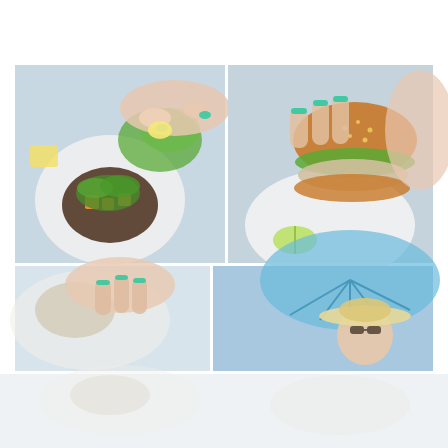[Figure (photo): Collage of food photography. Top-left: hands with teal nail polish placing a lemon slice on a salad plate with greens and beets on a white plate. Top-right: hands holding a gourmet burger with sesame bun, lettuce and fish patty, with lime wedge on plate. Bottom-left: close-up of hands with teal nails garnishing a dish. Bottom-right: woman with hat outdoors under blue umbrella. Bottom strip: faded out food/table scene.]